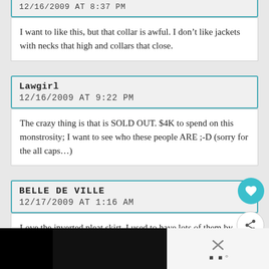12/16/2009 AT 8:37 PM
I want to like this, but that collar is awful. I don't like jackets with necks that high and collars that close.
Lawgirl
12/16/2009 AT 9:22 PM
The crazy thing is that is SOLD OUT. $4K to spend on this monstrosity; I want to see who these people ARE ;-D (sorry for the all caps...)
BELLE DE VILLE
12/17/2009 AT 1:16 AM
Love the inverted pleat skirt. I used to have lots of them by Celine and Hermes back in the 80's. I wish that I still had them!